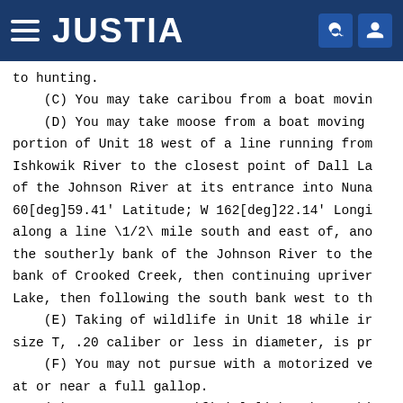JUSTIA
to hunting.
(C) You may take caribou from a boat movin
(D) You may take moose from a boat moving portion of Unit 18 west of a line running from Ishkowik River to the closest point of Dall La of the Johnson River at its entrance into Nuna 60[deg]59.41' Latitude; W 162[deg]22.14' Longi along a line \1/2\ mile south and east of, ano the southerly bank of the Johnson River to the bank of Crooked Creek, then continuing upriver Lake, then following the south bank west to th
(E) Taking of wildlife in Unit 18 while ir size T, .20 caliber or less in diameter, is pr
(F) You may not pursue with a motorized ve at or near a full gallop.
(G) You may use artificial light when taki